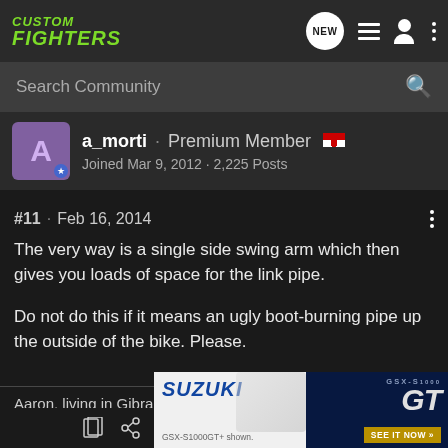CUSTOM FIGHTERS
Search Community
a_morti · Premium Member
Joined Mar 9, 2012 · 2,225 Posts
#11 · Feb 16, 2014
The very way is a single side swing arm which then gives you loads of space for the link pipe.

Do not do this if it means an ugly boot-burning pipe up the outside of the bike. Please.
Aaron, living in Gibraltar and riding a 2014 MSX125 (Grom) with a bunch of shiny s
[Figure (photo): Suzuki GSX-S1000 GT advertisement banner with motorcycle photo]